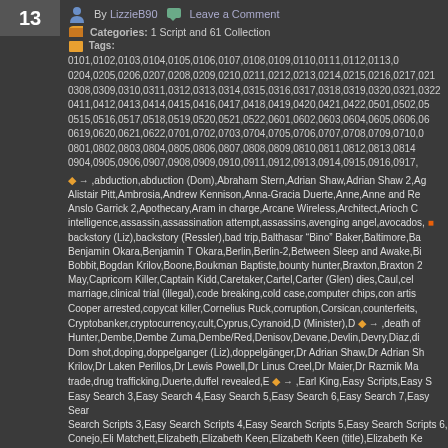13
By LizzieB90  Leave a Comment
Categories: 1 Script and 61 Collection
Tags: 0101,0102,0103,0104,0105,0106,0107,0108,0109,0110,0111,0112,0113,... 0204,0205,0206,0207,0208,0209,0210,0211,0212,0213,0214,0215,0216,0217,021... 0308,0309,0310,0311,0312,0313,0314,0315,0316,0317,0318,0319,0320,0321,0322... 0411,0412,0413,0414,0415,0416,0417,0418,0419,0420,0421,0422,0501,0502,05... 0515,0516,0517,0518,0519,0520,0521,0522,0601,0602,0603,0604,0605,0606,06... 0619,0620,0621,0622,0701,0702,0703,0704,0705,0706,0707,0708,0709,0710,0... 0801,0802,0803,0804,0805,0806,0807,0808,0809,0810,0811,0812,0813,0814... 0904,0905,0906,0907,0908,0909,0910,0911,0912,0913,0914,0915,0916,0917...
abduction,abduction (Dom),Abraham Stern,Adrian Shaw,Adrian Shaw 2,Ag... Alistair Pitt,Ambrosia,Andrew Kennison,Anna-Gracia Duerte,Anne,Anne and Re... Anslo Garrick 2,Apothecary,Aram in charge,Arcane Wireless,Architect,Arioch C... intelligence,assassin,assassination attempt,assassins,avenging angel,avocados,... backstory (Liz),backstory (Ressler),bad trip,Balthasar "Bino" Baker,Baltimore,Ba... Benjamin Okara,Benjamin T Okara,Berlin,Berlin-2,Between Sleep and Awake,Bi... Bobbit,Bogdan Krilov,Boone,Boukman Baptiste,bounty hunter,Braxton,Braxton 2... May,Capricorn Killer,Captain Kidd,Caretaker,Cartel,Carter (Glen) dies,Caul,cel... marriage,clinical trial (illegal),code breaking,cold case,computer chips,con artis... Cooper arrested,copycat killer,Cornelius Ruck,corruption,Corsican,counterfeits,... Cryptobanker,cryptocurrency,cult,Cyprus,Cyranoid,D (Minister),D death of... Hunter,Dembe,Dembe Zuma,Dembe/Red,Denisov,Devane,Devlin,Devry,Diaz,di... Dom shot,doping,doppelganger (Liz),doppelgänger,Dr Adrian Shaw,Dr Adrian Sh... Krilov,Dr Laken Perillos,Dr Lewis Powell,Dr Linus Creel,Dr Maier,Dr Razmik Ma... trade,drug trafficking,Duerte,duffel revealed,E Earl King,Easy Scripts,Easy S... Easy Search 3,Easy Search 4,Easy Search 5,Easy Search 6,Easy Search 7,Easy Sear... Search Scripts 3,Easy Search Scripts 4,Easy Search Scripts 5,Easy Search Scripts 6,... Conejo,Eli Matchett,Elizabeth,Elizabeth Keen,Elizabeth Keen (title),Elizabeth Ke... Episode 10,Episode 11,Episode 12,Episode 13,Episode 14,Episode 15,Episode 16,Epi... Episode 22,Episode 3,Episode 4,Episode 5,Episode 6,Episode 7,Episode 8,Episode... Forecaster,forgery,forgery (art),Frederick Barnes,Freelancer,Fribourg Confidenc... 2,gene hacking,General Ludd,General Shiro,genetics,genomics,Genuine Models...